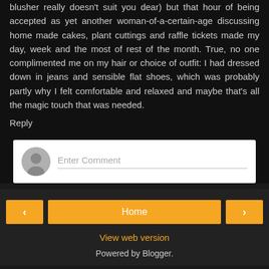blusher really doesn't suit you dear) but that hour of being accepted as yet another woman-of-a-certain-age discussing home made cakes, plant cuttings and raffle tickets made my day, week and the most of rest of the month. True, no one complimented me on my hair or choice of outfit: I had dressed down in jeans and sensible flat shoes, which was probably partly why I felt comfortable and relaxed and maybe that's all the magic touch that was needed.
Reply
[Figure (screenshot): Comment input box with avatar icon and 'Enter Comment' placeholder text]
< Home > View web version Powered by Blogger.